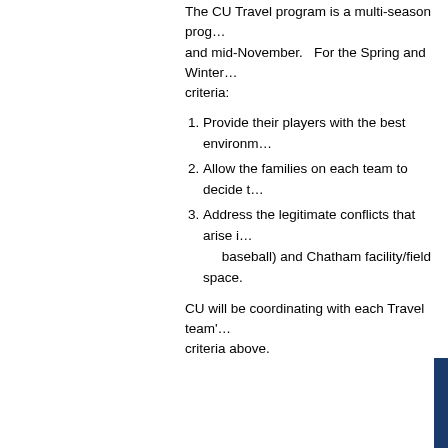The CU Travel program is a multi-season program running from mid-March and mid-November. For the Spring and Winter seasons, CU uses the following criteria:
Provide their players with the best environment
Allow the families on each team to decide t
Address the legitimate conflicts that arise in baseball) and Chatham facility/field space.
CU will be coordinating with each Travel team's criteria above.